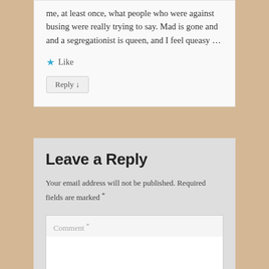me, at least once, what people who were against busing were really trying to say. Mad is gone and and a segregationist is queen, and I feel queasy ...
★ Like
Reply ↓
Leave a Reply
Your email address will not be published. Required fields are marked *
Comment *